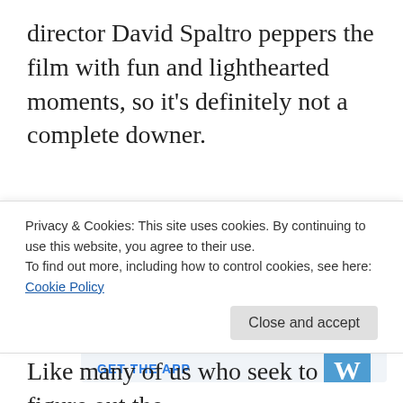director David Spaltro peppers the film with fun and lighthearted moments, so it's definitely not a complete downer.
[Figure (infographic): Advertisement banner with light blue background. Large serif text reads 'Build a writing habit. Post on the go.' Below is a 'GET THE APP' link in blue uppercase letters, and a WordPress app icon (blue circle with W logo) in the bottom right corner.]
Privacy & Cookies: This site uses cookies. By continuing to use this website, you agree to their use.
To find out more, including how to control cookies, see here: Cookie Policy
Close and accept
Like many of us who seek to figure out the